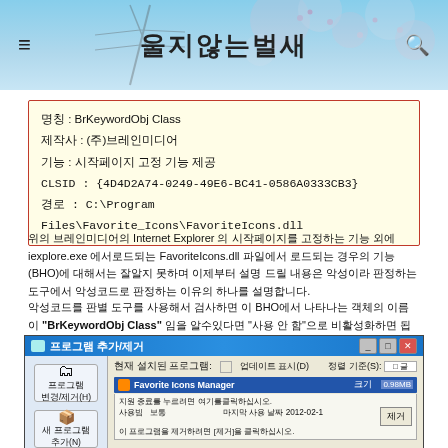울지않는벌새
명칭 : BrKeywordObj Class
제작사 : (주)브레인미디어
기능 : Internet Explorer 시작페이지 고정 및
CLSID : {4D4D2A74-0249-49E6-BC41-0586A0333CB3}
경로 : C:\Program Files\Favorite_Icons\FavoriteIcons.dll
위의 브레인미디어의 Internet Explorer 의 시작페이지를 고정하는 기능 외에 iexplore.exe 에서로드되는 FavoriteIcons.dll 등에서 로드되는 경우의 기능(BHO)에 대해서는 잘알지 못하며 이제부터 설명 드릴 내용은 악성이라 판정하는 도구에서 악성코드로 판정하는 이유의 하나를 설명합니다.
악성코드를 판별 도구를 사용해서 검사하면 이 BHO에서 나타나는 객체의 이름이 "BrKeywordObj Class" 임을 알수있다면 "사용 안 함"으로 비활성화하면 됩니다.
[Figure (screenshot): Windows XP 프로그램 추가/제거 dialog showing Favorite Icons Manager program entry with size 0.98MB, with Hummingbird (R) Tistory.com watermark overlay]